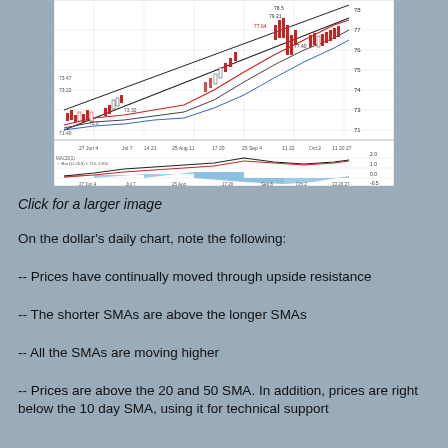[Figure (continuous-plot): Dollar daily chart showing candlestick price action with moving average lines (SMA), trendlines, and MACD indicator below. Time axis spans from late June through early October. Price panel shows upward trend with resistance breakouts and multiple SMAs. Lower panel shows MACD oscillator with histogram.]
Click for a larger image
On the dollar's daily chart, note the following:
-- Prices have continually moved through upside resistance
-- The shorter SMAs are above the longer SMAs
-- All the SMAs are moving higher
-- Prices are above the 20 and 50 SMA. In addition, prices are right below the 10 day SMA, using it for technical support